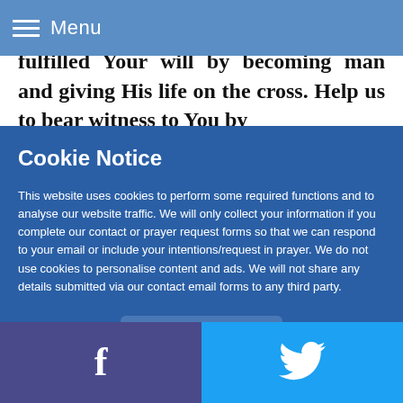Menu
fulfilled Your will by becoming man and giving His life on the cross. Help us to bear witness to You by
Cookie Notice
This website uses cookies to perform some required functions and to analyse our website traffic. We will only collect your information if you complete our contact or prayer request forms so that we can respond to your email or include your intentions/request in prayer. We do not use cookies to personalise content and ads. We will not share any details submitted via our contact email forms to any third party.
Accept
[Figure (other): Facebook and Twitter social share buttons in footer bar]